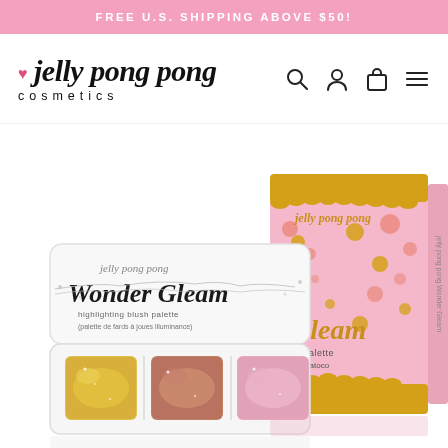FREE U.S. SHIPPING ABOVE $50!
[Figure (logo): jelly pong pong cosmetics logo with heart icon, italic script font for brand name and spaced lowercase for cosmetics]
[Figure (illustration): Navigation icons: search magnifying glass, user account silhouette, shopping bag/cart, hamburger menu lines]
[Figure (photo): Jelly Pong Pong Wonder Gleam highlighting blush palette (open compact with three shimmer pans: gold, rose, pink) alongside the product's pink and gold polka-dot box packaging showing 'Gleam' text and jelly pong pong branding]